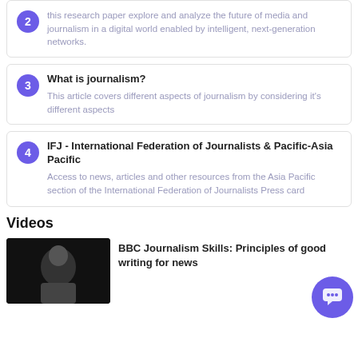2 - this research paper explore and analyze the future of media and journalism in a digital world enabled by intelligent, next-generation networks.
3 - What is journalism? This article covers different aspects of journalism by considering it's different aspects
4 - IFJ - International Federation of Journalists & Pacific-Asia Pacific. Access to news, articles and other resources from the Asia Pacific section of the International Federation of Journalists Press card
Videos
[Figure (photo): Thumbnail image of a person (dark background), part of a video listing for BBC Journalism Skills.]
BBC Journalism Skills: Principles of good writing for news